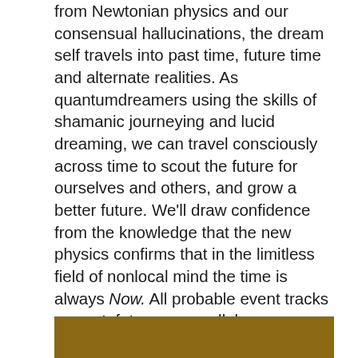from Newtonian physics and our consensual hallucinations, the dream self travels into past time, future time and alternate realities. As quantumdreamers using the skills of shamanic journeying and lucid dreaming, we can travel consciously across time to scout the future for ourselves and others, and grow a better future. We'll draw confidence from the knowledge that the new physics confirms that in the limitless field of nonlocal mind the time is always Now. All probable event tracks — past, future, or parallel — are accessible in this moment and may be revised for the better.
[Figure (other): Gold/brown colored bar at the bottom of the page]